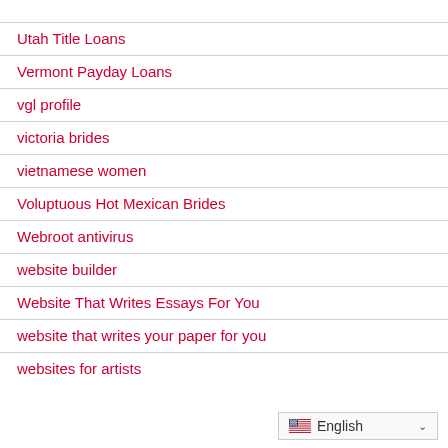Utah Title Loans
Vermont Payday Loans
vgl profile
victoria brides
vietnamese women
Voluptuous Hot Mexican Brides
Webroot antivirus
website builder
Website That Writes Essays For You
website that writes your paper for you
websites for artists